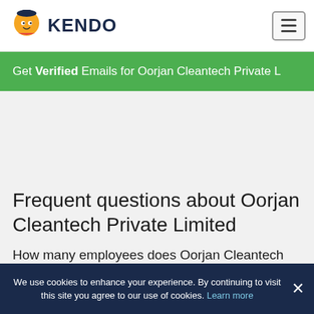KENDO
Get Verified Emails for Oorjan Cleantech Private L
Frequent questions about Oorjan Cleantech Private Limited
How many employees does Oorjan Cleantech Private Limited have?
Oorjan Cleantech Private Limited has approximately 11-50 employees.
We use cookies to enhance your experience. By continuing to visit this site you agree to our use of cookies. Learn more